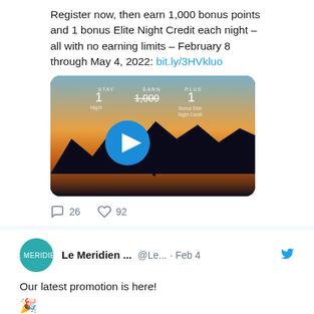Register now, then earn 1,000 bonus points and 1 bonus Elite Night Credit each night – all with no earning limits – February 8 through May 4, 2022: bit.ly/3HVkluo
[Figure (screenshot): Video thumbnail showing a hotel promotion with STAY 1 Night, EARN 1,000, PLUS 1 Bonus Elite Night Credit, with a sunset landscape background and a blue play button]
26 replies, 92 likes
Le Meridien ... @Le... · Feb 4
Our latest promotion is here! 🎉
Register now, then earn 1,000